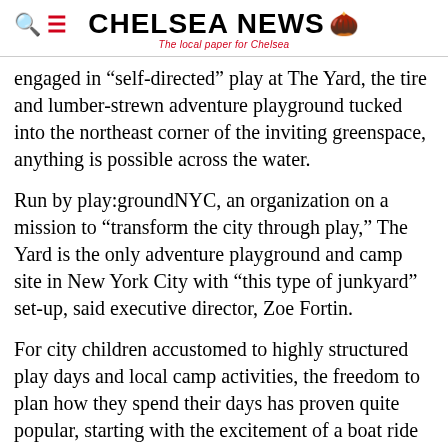CHELSEA NEWS — The local paper for Chelsea
engaged in “self-directed” play at The Yard, the tire and lumber-strewn adventure playground tucked into the northeast corner of the inviting greenspace, anything is possible across the water.
Run by play:groundNYC, an organization on a mission to “transform the city through play,” The Yard is the only adventure playground and camp site in New York City with “this type of junkyard” set-up, said executive director, Zoe Fortin.
For city children accustomed to highly structured play days and local camp activities, the freedom to plan how they spend their days has proven quite popular, starting with the excitement of a boat ride from the southern tip of Manhattan, and the permission to literally choose how to spend their days on the island